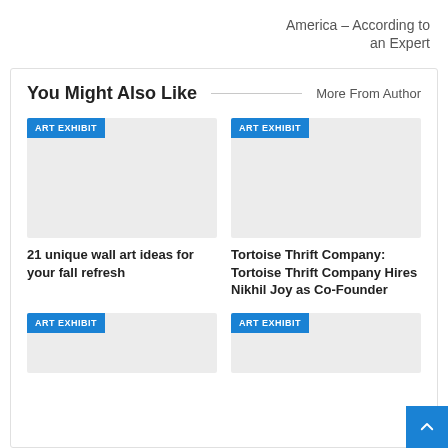America – According to an Expert
You Might Also Like
More From Author
[Figure (illustration): Gray placeholder image with ART EXHIBIT badge]
21 unique wall art ideas for your fall refresh
[Figure (illustration): Gray placeholder image with ART EXHIBIT badge]
Tortoise Thrift Company: Tortoise Thrift Company Hires Nikhil Joy as Co-Founder
[Figure (illustration): Gray placeholder image with ART EXHIBIT badge]
[Figure (illustration): Gray placeholder image with ART EXHIBIT badge]